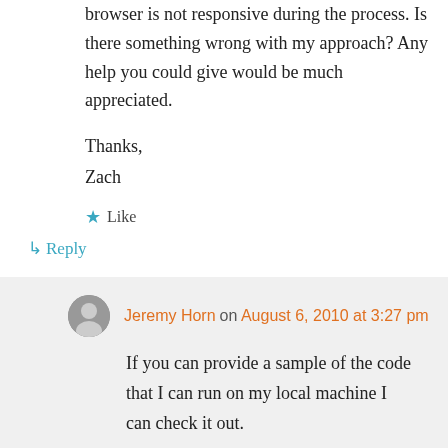browser is not responsive during the process. Is there something wrong with my approach? Any help you could give would be much appreciated.
Thanks,
Zach
★ Like
↳ Reply
Jeremy Horn on August 6, 2010 at 3:27 pm
If you can provide a sample of the code that I can run on my local machine I can check it out.
★ Like